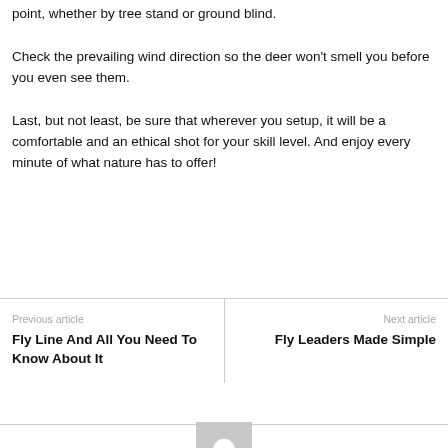point, whether by tree stand or ground blind.
Check the prevailing wind direction so the deer won't smell you before you even see them.
Last, but not least, be sure that wherever you setup, it will be a comfortable and an ethical shot for your skill level. And enjoy every minute of what nature has to offer!
Previous article
Fly Line And All You Need To Know About It
Next article
Fly Leaders Made Simple
[Figure (illustration): Gray avatar placeholder image with a white circle in the center]